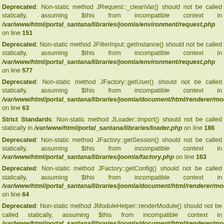Deprecated: Non-static method JRequest::_cleanVar() should not be called statically, assuming $this from incompatible context in /var/www/html/portal_santana/libraries/joomla/environment/request.php on line 151
Deprecated: Non-static method JFilterInput::getInstance() should not be called statically, assuming $this from incompatible context in /var/www/html/portal_santana/libraries/joomla/environment/request.php on line 577
Deprecated: Non-static method JFactory::getUser() should not be called statically, assuming $this from incompatible context in /var/www/html/portal_santana/libraries/joomla/document/html/renderer/module on line 63
Strict Standards: Non-static method JLoader::import() should not be called statically in /var/www/html/portal_santana/libraries/loader.php on line 186
Deprecated: Non-static method JFactory::getSession() should not be called statically, assuming $this from incompatible context in /var/www/html/portal_santana/libraries/joomla/factory.php on line 163
Deprecated: Non-static method JFactory::getConfig() should not be called statically, assuming $this from incompatible context in /var/www/html/portal_santana/libraries/joomla/document/html/renderer/module on line 64
Deprecated: Non-static method JModuleHelper::renderModule() should not be called statically, assuming $this from incompatible context in /var/www/html/portal_santana/libraries/joomla/document/html/renderer/module on line 84